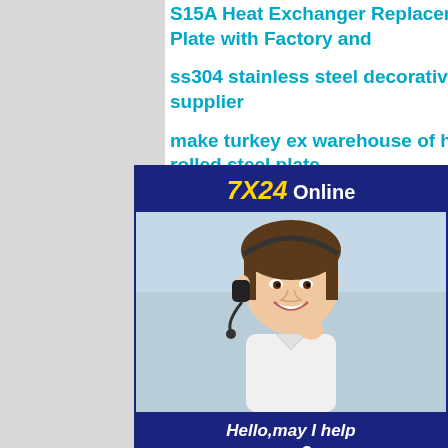S15A Heat Exchanger Replacement Plate with Factory and
ss304 stainless steel decorative sheets supplier
make turkey ex warehouse of hot rolled steel plate
[Figure (other): 7X24 Online customer service ad banner with a smiling woman wearing a headset. Text: Hello,may I help you? Get Latest Price button.]
cold rolled low price mild steel astm a36
prepinted steel sheet for building tile supplier
stock 3mmx1mx2m copper nickel plate factory
standard ss400 ppgi ppgl steel sheet hot sale in stock